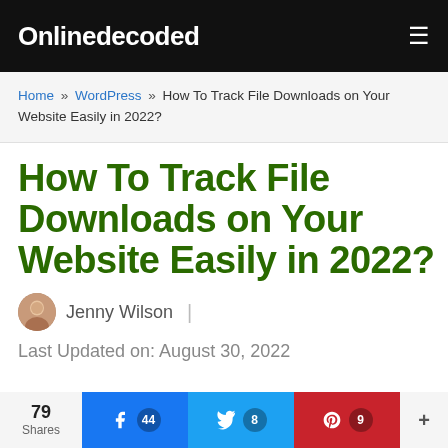Onlinedecoded
Home » WordPress » How To Track File Downloads on Your Website Easily in 2022?
How To Track File Downloads on Your Website Easily in 2022?
Jenny Wilson | Last Updated on: August 30, 2022
79 Shares | Facebook 44 | Twitter 8 | Pinterest 9 | +